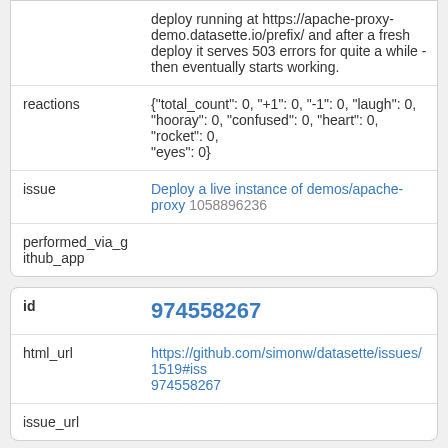| (continuation of body text) | deploy running at https://apache-proxy-demo.datasette.io/prefix/ and after a fresh deploy it serves 503 errors for quite a while - then eventually starts working. |
| reactions | {"total_count": 0, "+1": 0, "-1": 0, "laugh": 0, "hooray": 0, "confused": 0, "heart": 0, "rocket": 0, "eyes": 0} |
| issue | Deploy a live instance of demos/apache-proxy 1058896236 |
| performed_via_github_app |  |
| id | 974558267 |
| html_url | https://github.com/simonw/datasette/issues/1519#iss974558267 |
| issue_url |  |